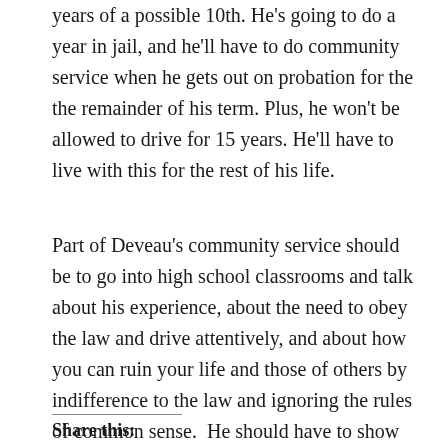years of a possible 10th. He's going to do a year in jail, and he'll have to do community service when he gets out on probation for the the remainder of his term. Plus, he won't be allowed to drive for 15 years. He'll have to live with this for the rest of his life.
Part of Deveau's community service should be to go into high school classrooms and talk about his experience, about the need to obey the law and drive attentively, and about how you can ruin your life and those of others by indifference to the law and ignoring the rules of common sense.  He should have to show the picture of the person he killed to drive home the point.
Share this: